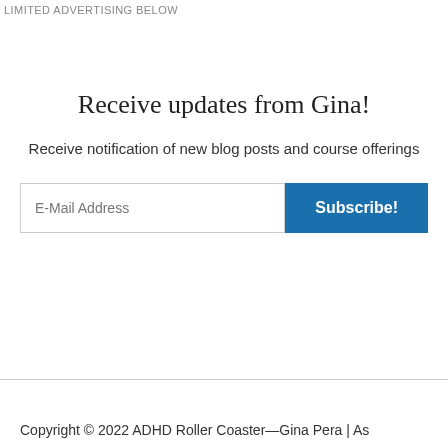LIMITED ADVERTISING BELOW
Receive updates from Gina!
Receive notification of new blog posts and course offerings
Copyright © 2022 ADHD Roller Coaster—Gina Pera | As